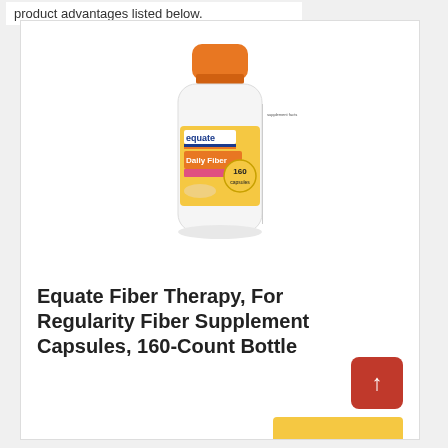product advantages listed below.
[Figure (photo): Equate Daily Fiber supplement bottle with orange cap, white bottle body with yellow and pink label showing 160 capsules]
Equate Fiber Therapy, For Regularity Fiber Supplement Capsules, 160-Count Bottle